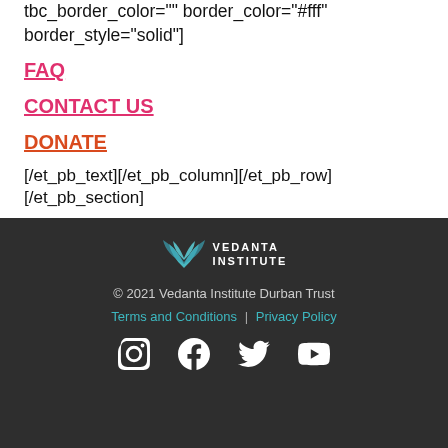tbc_border_color="" border_color="#fff" border_style="solid"]
FAQ
CONTACT US
DONATE
[/et_pb_text][/et_pb_column][/et_pb_row][/et_pb_section]
[Figure (logo): Vedanta Institute logo with lotus flower icon and text VEDANTA INSTITUTE]
© 2021 Vedanta Institute Durban Trust
Terms and Conditions | Privacy Policy